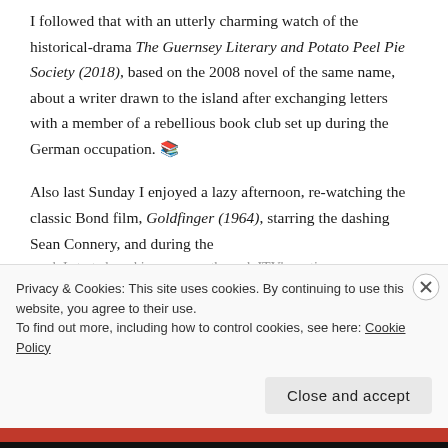I followed that with an utterly charming watch of the historical-drama The Guernsey Literary and Potato Peel Pie Society (2018), based on the 2008 novel of the same name, about a writer drawn to the island after exchanging letters with a member of a rebellious book club set up during the German occupation. 📚
Also last Sunday I enjoyed a lazy afternoon, re-watching the classic Bond film, Goldfinger (1964), starring the dashing Sean Connery, and during the week I started working my way through ITV's erotic...
Privacy & Cookies: This site uses cookies. By continuing to use this website, you agree to their use.
To find out more, including how to control cookies, see here: Cookie Policy